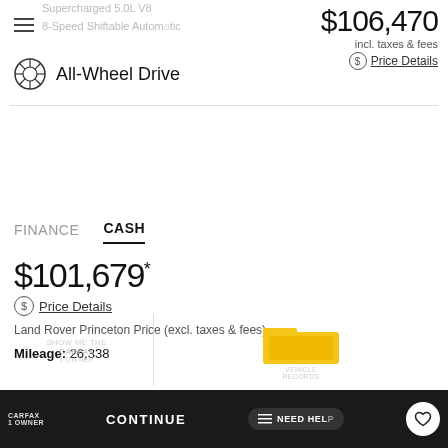Supercharged 5.0L V8
8-Speed Shiftable Automatic
$106,470 incl. taxes & fees
Price Details
All-Wheel Drive
FINANCE
CASH
$101,679 *
Price Details
Land Rover Princeton Price (excl. taxes & fees)
Mileage: 26,338
SHOW ME THE CARFAX OWNER
VEHICLE RECORDS
CONTINUE
NEED HELP